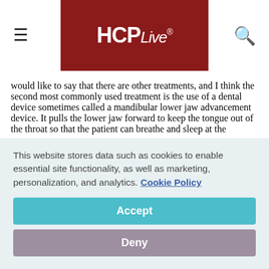HCPLive®
would like to say that there are other treatments, and I think the second most commonly used treatment is the use of a dental device sometimes called a mandibular lower jaw advancement device. It pulls the lower jaw forward to keep the tongue out of the throat so that the patient can breathe and sleep at the
This website stores data such as cookies to enable essential site functionality, as well as marketing, personalization, and analytics. Cookie Policy
Accept
Deny